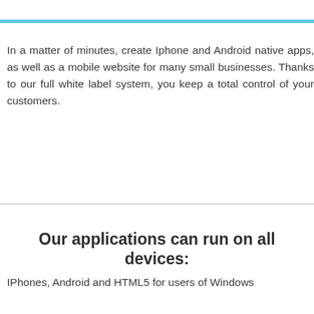In a matter of minutes, create Iphone and Android native apps, as well as a mobile website for many small businesses. Thanks to our full white label system, you keep a total control of your customers.
Our applications can run on all devices:
IPhones, Android and HTML5 for users of Windows